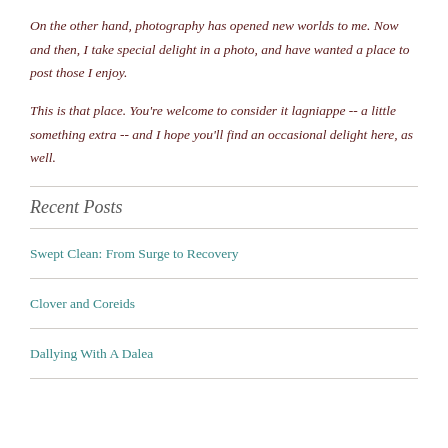On the other hand, photography has opened new worlds to me. Now and then, I take special delight in a photo, and have wanted a place to post those I enjoy.
This is that place. You're welcome to consider it lagniappe -- a little something extra -- and I hope you'll find an occasional delight here, as well.
Recent Posts
Swept Clean: From Surge to Recovery
Clover and Coreids
Dallying With A Dalea